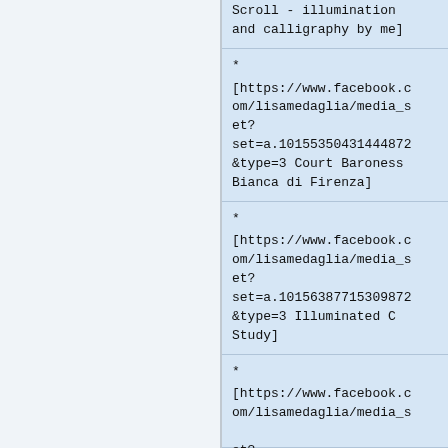Scroll - illumination and calligraphy by me]
* [https://www.facebook.com/lisamedaglia/media_set?set=a.10155350431444872&type=3 Court Baroness Bianca di Firenza]
* [https://www.facebook.com/lisamedaglia/media_set?set=a.10156387715309872&type=3 Illuminated C Study]
* [https://www.facebook.com/lisamedaglia/media_set?et?